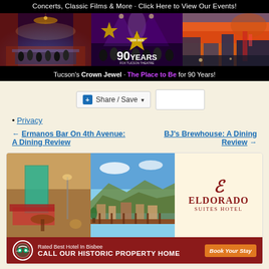[Figure (photo): Banner advertisement for a theater/venue. Top text: 'Concerts, Classic Films & More · Click Here to View Our Events!' Three photos: ornate theater interior, concert crowd, colorful sunset street scene. Center badge: '90 YEARS'. Bottom text: "Tucson's Crown Jewel · The Place to Be for 90 Years!"]
[Figure (screenshot): Share/Save social widget button with dropdown arrow and a blank white box next to it]
• Privacy
← Ermanos Bar On 4th Avenue: A Dining Review
BJ's Brewhouse: A Dining Review →
[Figure (photo): Eldorado Suites Hotel advertisement. Two hotel photos on left (room interior and balcony view of Bisbee). Logo area with stylized E and 'ELDORADO SUITES HOTEL'. Bottom bar in dark red: TripAdvisor icon, 'Rated Best Hotel In Bisbee', 'CALL OUR HISTORIC PROPERTY HOME', and 'Book Your Stay' button.]